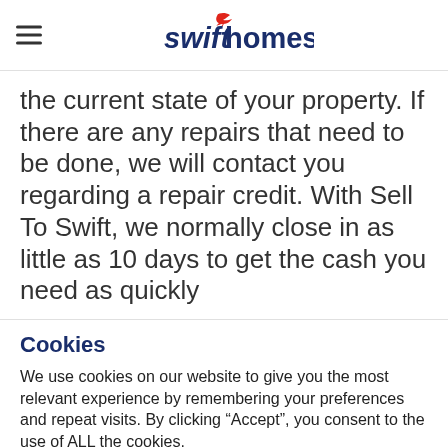swifthomes
the current state of your property. If there are any repairs that need to be done, we will contact you regarding a repair credit. With Sell To Swift, we normally close in as little as 10 days to get the cash you need as quickly
Cookies
We use cookies on our website to give you the most relevant experience by remembering your preferences and repeat visits. By clicking “Accept”, you consent to the use of ALL the cookies.
Do not sell my personal information.
Cookie Settings  Accept